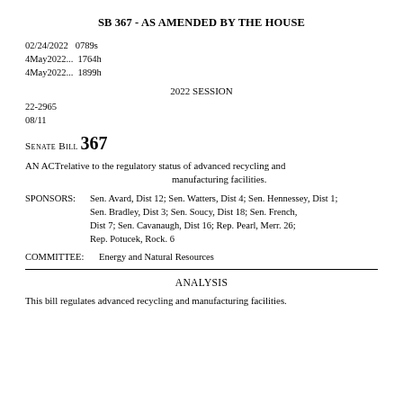SB 367 - AS AMENDED BY THE HOUSE
02/24/2022   0789s
4May2022...  1764h
4May2022...  1899h
2022 SESSION
22-2965
08/11
SENATE BILL 367
AN ACT relative to the regulatory status of advanced recycling and manufacturing facilities.
SPONSORS: Sen. Avard, Dist 12; Sen. Watters, Dist 4; Sen. Hennessey, Dist 1; Sen. Bradley, Dist 3; Sen. Soucy, Dist 18; Sen. French, Dist 7; Sen. Cavanaugh, Dist 16; Rep. Pearl, Merr. 26; Rep. Potucek, Rock. 6
COMMITTEE: Energy and Natural Resources
ANALYSIS
This bill regulates advanced recycling and manufacturing facilities.